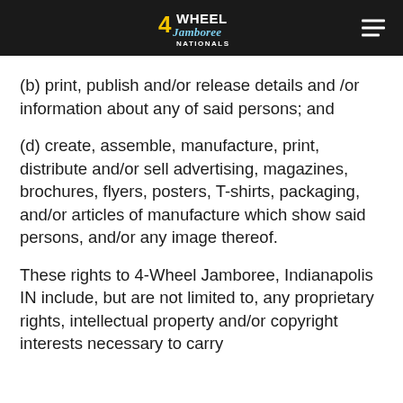4 Wheel Jamboree Nationals
(b) print, publish and/or release details and /or information about any of said persons; and
(d) create, assemble, manufacture, print, distribute and/or sell advertising, magazines, brochures, flyers, posters, T-shirts, packaging, and/or articles of manufacture which show said persons, and/or any image thereof.
These rights to 4-Wheel Jamboree, Indianapolis IN include, but are not limited to, any proprietary rights, intellectual property and/or copyright interests necessary to carry